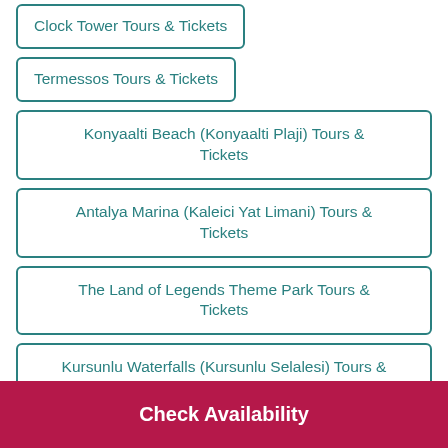Clock Tower Tours & Tickets
Termessos Tours & Tickets
Konyaalti Beach (Konyaalti Plaji) Tours & Tickets
Antalya Marina (Kaleici Yat Limani) Tours & Tickets
The Land of Legends Theme Park Tours & Tickets
Kursunlu Waterfalls (Kursunlu Selalesi) Tours & Tickets
Check Availability